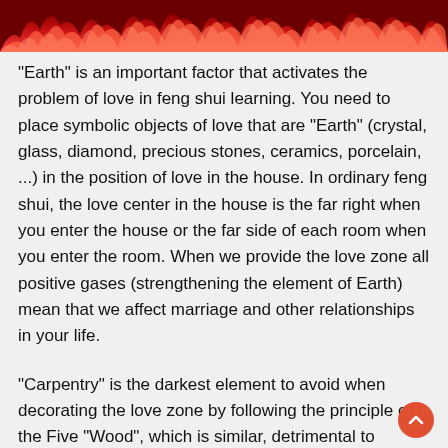[Figure (photo): Decorative fire/flames image banner at the top of the page with red and pink flame imagery against a dark background]
"Earth" is an important factor that activates the problem of love in feng shui learning. You need to place symbolic objects of love that are "Earth" (crystal, glass, diamond, precious stones, ceramics, porcelain, ...) in the position of love in the house. In ordinary feng shui, the love center in the house is the far right when you enter the house or the far side of each room when you enter the room. When we provide the love zone all positive gases (strengthening the element of Earth) mean that we affect marriage and other relationships in your life.
"Carpentry" is the darkest element to avoid when decorating the love zone by following the principle of the Five "Wood", which is similar, detrimental to "Earth". So do not put things like bamboo, rattan, ... in this area. We can decorate real